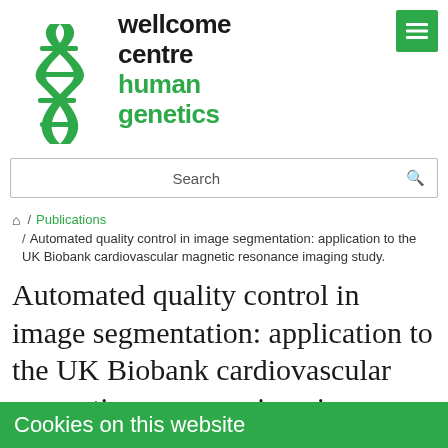[Figure (logo): Wellcome Centre Human Genetics logo with green DNA helix graphic and text]
Search
/ Publications / Automated quality control in image segmentation: application to the UK Biobank cardiovascular magnetic resonance imaging study.
Automated quality control in image segmentation: application to the UK Biobank cardiovascular magnetic resonance imaging
Cookies on this website